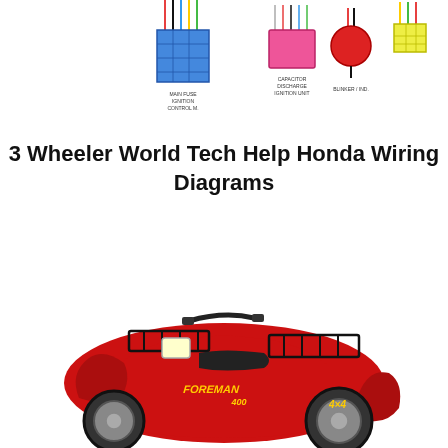[Figure (schematic): Wiring diagram components strip showing electrical connectors and modules: blue connector block with wires, pink/red capacitor discharge ignition unit, red circular component, and yellow connector block with wires]
3 Wheeler World Tech Help Honda Wiring Diagrams
[Figure (photo): Red Honda Foreman 400 4x4 ATV four-wheeler with black front and rear cargo racks, photographed from a 3/4 front-left angle on a white background]